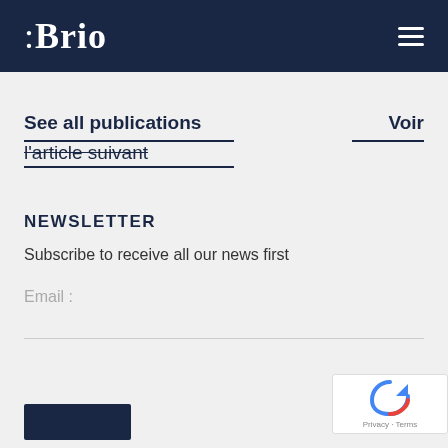: Brio
See all publications
Voir l'article suivant
NEWSLETTER
Subscribe to receive all our news first
Email :